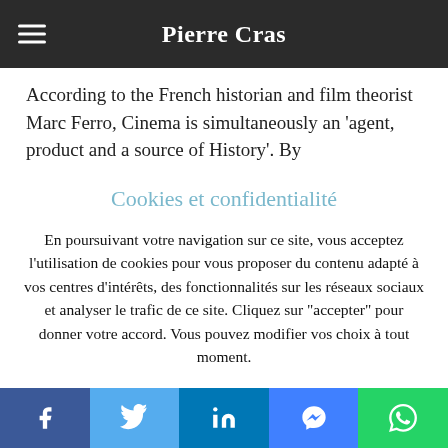Pierre Cras
According to the French historian and film theorist Marc Ferro, Cinema is simultaneously an 'agent, product and a source of History'. By
Cookies et confidentialité
En poursuivant votre navigation sur ce site, vous acceptez l'utilisation de cookies pour vous proposer du contenu adapté à vos centres d'intérêts, des fonctionnalités sur les réseaux sociaux et analyser le trafic de ce site. Cliquez sur "accepter" pour donner votre accord. Vous pouvez modifier vos choix à tout moment.
Facebook Twitter LinkedIn Messenger WhatsApp